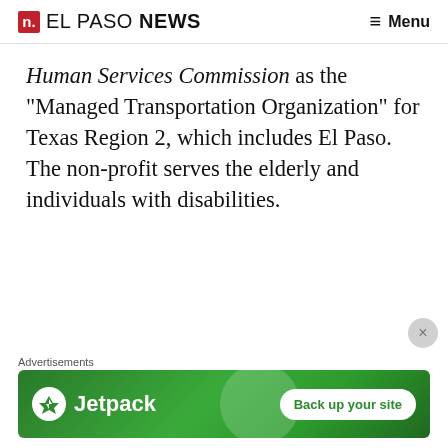n. EL PASO NEWS  Menu
Human Services Commission as the "Managed Transportation Organization" for Texas Region 2, which includes El Paso. The non-profit serves the elderly and individuals with disabilities.
Advertisements
[Figure (other): Jetpack advertisement banner with green background, Jetpack logo and 'Back up your site' button]